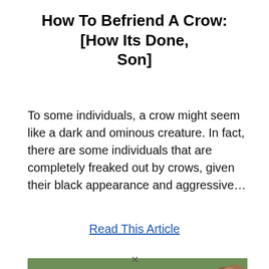How To Befriend A Crow: [How Its Done, Son]
To some individuals, a crow might seem like a dark and ominous creature. In fact, there are some individuals that are completely freaked out by crows, given their black appearance and aggressive…
Read This Article
[Figure (photo): Close-up photograph of a small furry animal (likely a squirrel or similar creature) on green grass ground, blurred background with green and brown tones.]